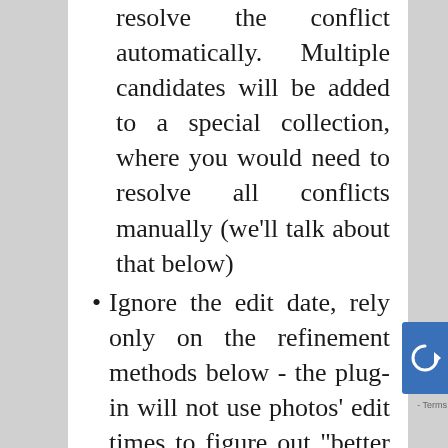resolve the conflict automatically. Multiple candidates will be added to a special collection, where you would need to resolve all conflicts manually (we'll talk about that below)
Ignore the edit date, rely only on the refinement methods below - the plug-in will not use photos' edit times to figure out "better candidates"
Use the most recently edited version - out of all matches, the plug-in will choose only the most recent edited photo.
Use the last edited version before the upload- out of all matches, the plug-in will